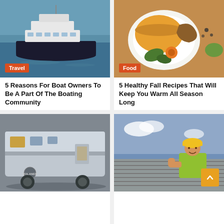[Figure (photo): Aerial view of a large luxury yacht on blue water]
Travel
5 Reasons For Boat Owners To Be A Part Of The Boating Community
12 hours ago  Paul Petersen
[Figure (photo): Bowl of orange soup with bread, green herbs, and orange flowers on a white plate]
Food
5 Healthy Fall Recipes That Will Keep You Warm All Season Long
13 hours ago  Paul Petersen
[Figure (photo): Close-up of a large RV or boat side panel in storage or parking area]
[Figure (photo): Construction worker in yellow hard hat and safety vest giving thumbs up on a roof]